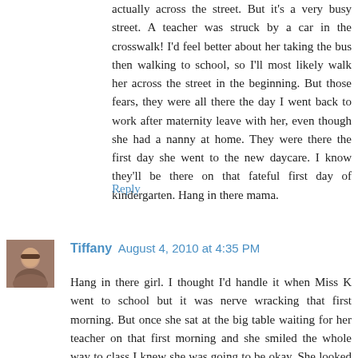actually across the street. But it's a very busy street. A teacher was struck by a car in the crosswalk! I'd feel better about her taking the bus then walking to school, so I'll most likely walk her across the street in the beginning. But those fears, they were all there the day I went back to work after maternity leave with her, even though she had a nanny at home. They were there the first day she went to the new daycare. I know they'll be there on that fateful first day of kindergarten. Hang in there mama.
Reply
[Figure (photo): Small avatar photo of a woman named Tiffany]
Tiffany  August 4, 2010 at 4:35 PM
Hang in there girl. I thought I'd handle it when Miss K went to school but it was nerve wracking that first morning. But once she sat at the big table waiting for her teacher on that first morning and she smiled the whole way to class I knew she was going to be okay. She looked so small carrying her backpack and lunch box but she was a "big girl" now. That is what she told me. You'll manage and he'll be smiling all the way there. It's hard to cut those apron strings